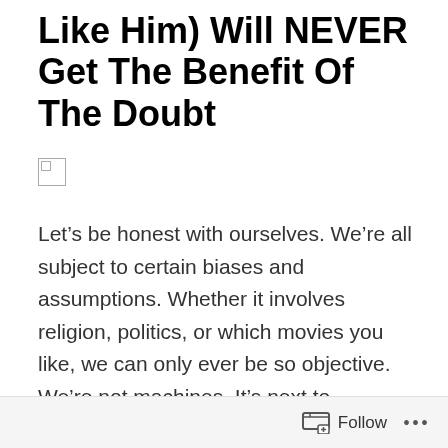Like Him) Will NEVER Get The Benefit Of The Doubt
[Figure (photo): Broken/missing image placeholder (small image icon with border)]
Let’s be honest with ourselves. We’re all subject to certain biases and assumptions. Whether it involves religion, politics, or which movies you like, we can only ever be so objective. We’re not machines. It’s next to impossible to analyze a situation with cold, unfeeling logic and render a perfectly objective judgment.
I make that disclaimer because I’m about to talk about the ongoing situation between Johnny Depp and Amber Heard. Please note that I’ve been avoiding this topic, but not because it involves serious, emotionally charged